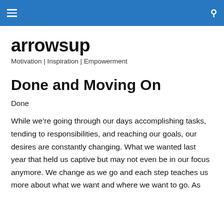≡  🔍
arrowsup
Motivation | Inspiration | Empowerment
Done and Moving On
Done
While we're going through our days accomplishing tasks, tending to responsibilities, and reaching our goals, our desires are constantly changing. What we wanted last year that held us captive but may not even be in our focus anymore. We change as we go and each step teaches us more about what we want and where we want to go. As